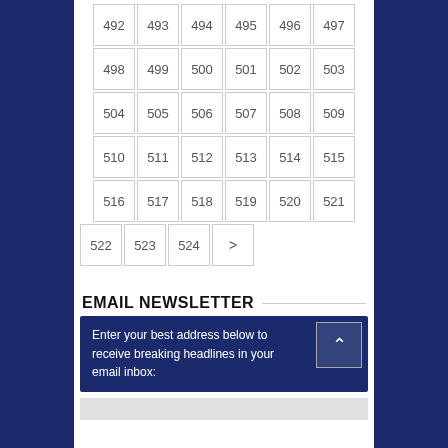| 492 | 493 | 494 | 495 | 496 | 497 |
| 498 | 499 | 500 | 501 | 502 | 503 |
| 504 | 505 | 506 | 507 | 508 | 509 |
| 510 | 511 | 512 | 513 | 514 | 515 |
| 516 | 517 | 518 | 519 | 520 | 521 |
| 522 | 523 | 524 | > |  |  |
EMAIL NEWSLETTER
Enter your best address below to receive breaking headlines in your email inbox: